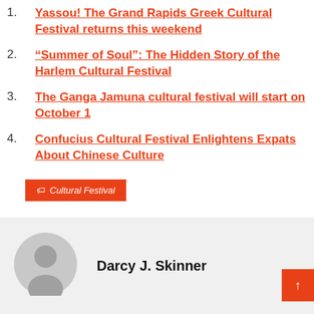Yassou! The Grand Rapids Greek Cultural Festival returns this weekend
“Summer of Soul”: The Hidden Story of the Harlem Cultural Festival
The Ganga Jamuna cultural festival will start on October 1
Confucius Cultural Festival Enlightens Expats About Chinese Culture
Cultural Festival
Darcy J. Skinner